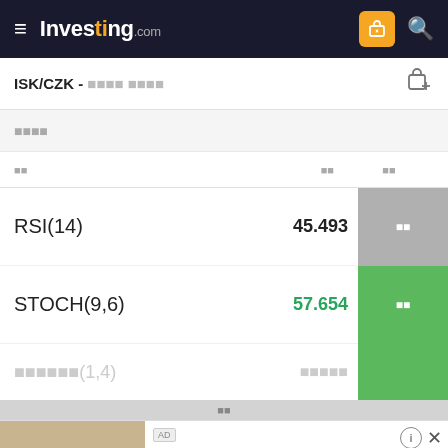Investing.com
ISK/CZK - [redacted]
[redacted]
| 이름 | 값 | 신호 |
| --- | --- | --- |
| RSI(14) | 45.493 | 중립 |
| STOCH(9,6) | 57.654 | 매수 |
| STOCHRSI(1...) | ... | 매수 |
[Figure (screenshot): Advertisement overlay for 'Your Luxury Home Furnisher' by Balhome with an Open button]